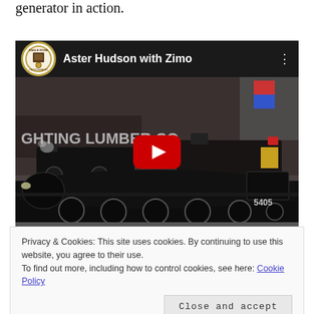generator in action.
[Figure (screenshot): YouTube video embed showing 'Aster Hudson with Zimo' — a video thumbnail of model trains including a large black steam locomotive (number 5405) and smaller locomotives on a layout, with a red YouTube play button in the center. Channel logo (circular badge) is shown in the top left of the video player.]
Privacy & Cookies: This site uses cookies. By continuing to use this website, you agree to their use.
To find out more, including how to control cookies, see here: Cookie Policy

Close and accept